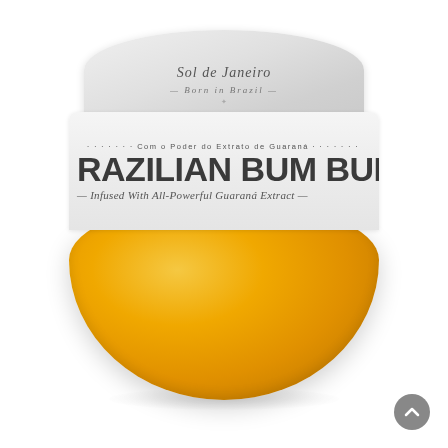[Figure (photo): Sol de Janeiro Brazilian Bum Bum Cream jar product photo. The jar has a silver/white lid with the Sol de Janeiro brand name and 'Born in Brazil' text. The label band reads 'Com o Poder do Extrato de Guaraná' at top and 'BRAZILIAN BUM BUM CREAM' in large bold letters, with 'Infused With All-Powerful Guaraná Extract' below in italic. The body of the jar is a bright golden-yellow/orange rounded bowl shape. A gray circular scroll-to-top button appears in the bottom right corner.]